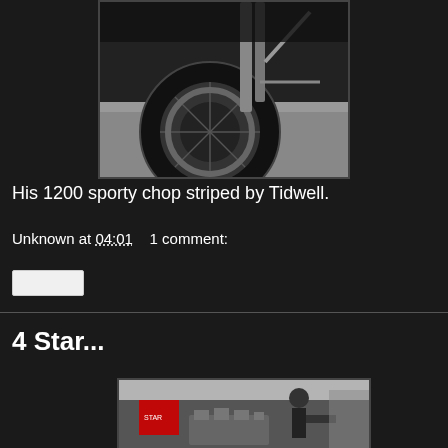[Figure (photo): Black and white close-up photo of a motorcycle front wheel and suspension, showing the tire, brake disc, and frame components]
His 1200 sporty chop striped by Tidwell.
Unknown at 04:01    1 comment:
[Figure (other): Small white/grey share button widget]
4 Star...
[Figure (photo): Color photo of a person working on a motorcycle engine under a tent canopy at what appears to be an outdoor event or show]